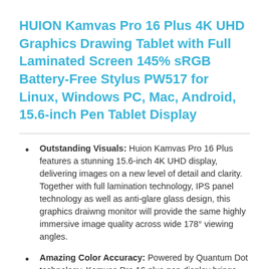HUION Kamvas Pro 16 Plus 4K UHD Graphics Drawing Tablet with Full Laminated Screen 145% sRGB Battery-Free Stylus PW517 for Linux, Windows PC, Mac, Android, 15.6-inch Pen Tablet Display
Outstanding Visuals: Huion Kamvas Pro 16 Plus features a stunning 15.6-inch 4K UHD display, delivering images on a new level of detail and clarity. Together with full lamination technology, IPS panel technology as well as anti-glare glass design, this graphics draiwng monitor will provide the same highly immersive image quality across wide 178° viewing angles.
Amazing Color Accuracy: Powered by Quantum Dot technology, Kamvas Pro 16 plus pen display brings you brilliant, true-to-life colors than ever before with 145% sRGB wide color gamut, while 1200:1 contrast ratio delivers deeper black and brighter white. It is